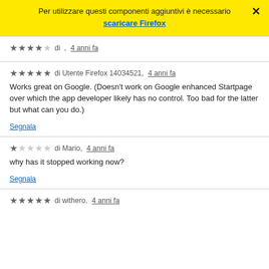[Figure (screenshot): Yellow notification banner saying 'Per utilizzare questi componenti aggiuntivi è necessario scaricare Firefox' with a close X button]
★★★★☆ di , 4 anni fa
★★★★★ di Utente Firefox 14034521, 4 anni fa
Works great on Google. (Doesn't work on Google enhanced Startpage over which the app developer likely has no control. Too bad for the latter but what can you do.)
Segnala
★☆☆☆☆ di Mario, 4 anni fa
why has it stopped working now?
Segnala
★★★★★ di withero, 4 anni fa